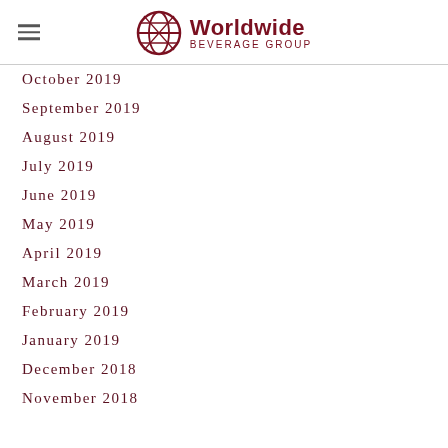Worldwide Beverage Group
October 2019
September 2019
August 2019
July 2019
June 2019
May 2019
April 2019
March 2019
February 2019
January 2019
December 2018
November 2018